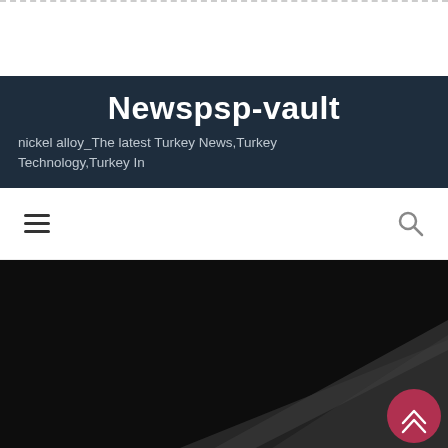Newspsp-vault
nickel alloy_The latest Turkey News,Turkey Technology,Turkey In
[Figure (screenshot): Navigation bar with hamburger menu icon on left and search icon on right]
[Figure (photo): Dark hero image showing a dark background with a diagonal metallic surface (nickel alloy material) visible in lower right, with a red circular scroll-to-top button containing double chevron arrows in the bottom right corner]